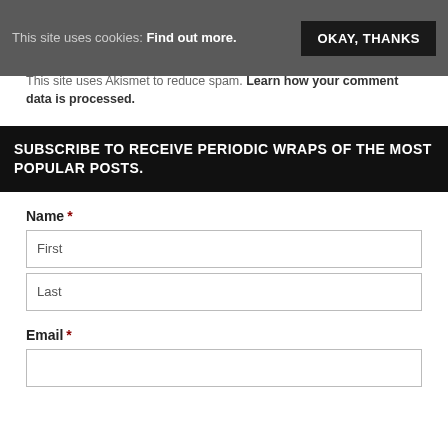This site uses cookies: Find out more.
OKAY, THANKS
This site uses Akismet to reduce spam. Learn how your comment data is processed.
SUBSCRIBE TO RECEIVE PERIODIC WRAPS OF THE MOST POPULAR POSTS.
Name *
First
Last
Email *